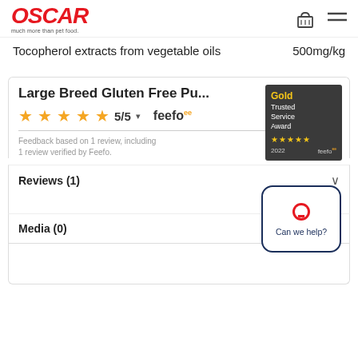[Figure (logo): OSCAR pet food logo with red italic text and tagline 'much more than pet food.']
Tocopherol extracts from vegetable oils    500mg/kg
Large Breed Gluten Free Pu...
[Figure (other): 5 gold stars rating with 5/5 score and Feefo logo]
[Figure (other): Gold Trusted Service Award 2022 badge with 5 gold stars and Feefo logo]
Feedback based on 1 review, including 1 review verified by Feefo.
Reviews (1)
Media (0)
[Figure (other): Can we help? chat button with red speech bubble icon]